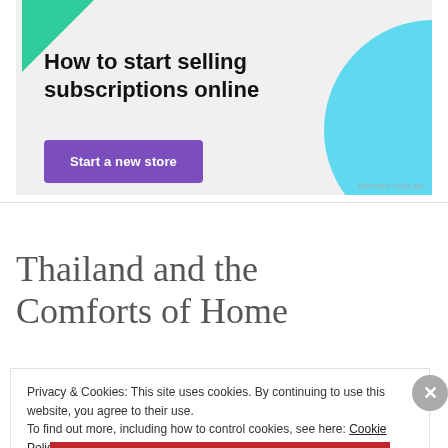[Figure (illustration): Advertisement banner with light gray background, green triangle shape top-left, cyan/light-blue curved shape top-right, bold text 'How to start selling subscriptions online', and a purple 'Start a new store' button]
Thailand and the Comforts of Home
Privacy & Cookies: This site uses cookies. By continuing to use this website, you agree to their use.
To find out more, including how to control cookies, see here: Cookie Policy
Close and accept